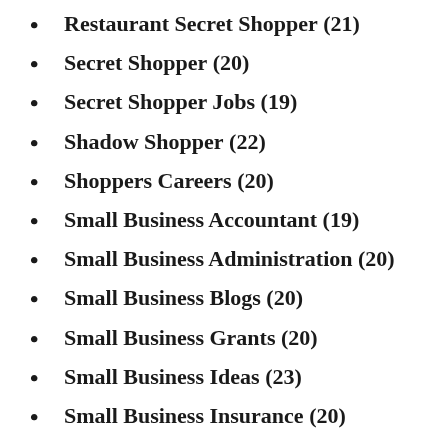Restaurant Secret Shopper (21)
Secret Shopper (20)
Secret Shopper Jobs (19)
Shadow Shopper (22)
Shoppers Careers (20)
Small Business Accountant (19)
Small Business Administration (20)
Small Business Blogs (20)
Small Business Grants (20)
Small Business Ideas (23)
Small Business Insurance (20)